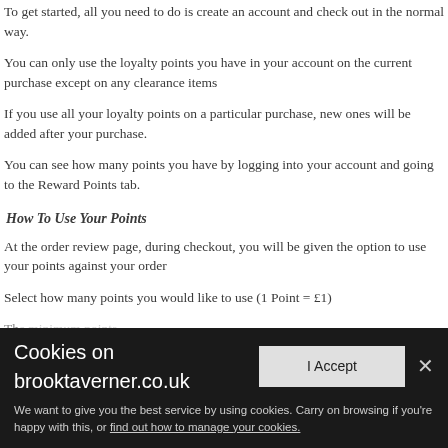To get started, all you need to do is create an account and check out in the normal way.
You can only use the loyalty points you have in your account on the current purchase except on any clearance items
If you use all your loyalty points on a particular purchase, new ones will be added after your purchase.
You can see how many points you have by logging into your account and going to the Reward Points tab.
How To Use Your Points
At the order review page, during checkout, you will be given the option to use your points against your order
Select how many points you would like to use (1 Point = £1)
The minimum number of points that can be used is...
Please note that points cannot be used...
[Figure (screenshot): Cookie consent banner for brooktaverner.co.uk with title 'Cookies on brooktaverner.co.uk', an 'I Accept' button, a close X button, and text 'We want to give you the best service by using cookies. Carry on browsing if you're happy with this, or find out how to manage your cookies.']